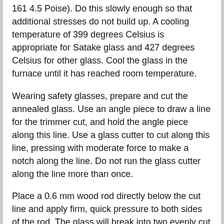161 4.5 Poise). Do this slowly enough so that additional stresses do not build up. A cooling temperature of 399 degrees Celsius is appropriate for Satake glass and 427 degrees Celsius for other glass. Cool the glass in the furnace until it has reached room temperature.
Wearing safety glasses, prepare and cut the annealed glass. Use an angle piece to draw a line for the trimmer cut, and hold the angle piece along this line. Use a glass cutter to cut along this line, pressing with moderate force to make a notch along the line. Do not run the glass cutter along the line more than once.
Place a 0.6 mm wood rod directly below the cut line and apply firm, quick pressure to both sides of the rod. The glass will break into two evenly cut pieces.
Sand the edges of the newly cut glass with a sanding stone. This will make it stronger and safer to use and handle.